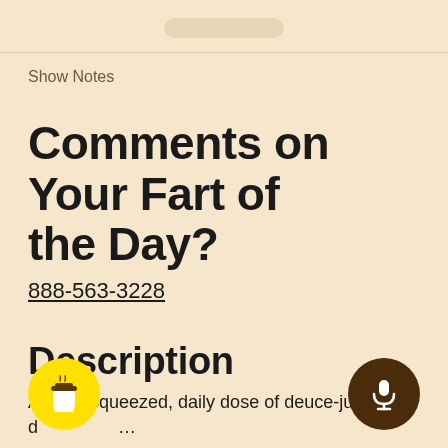Show Notes
Comments on Your Fart of the Day?
888-563-3228
Description
A fresh-squeezed, daily dose of deuce-juice-free d...